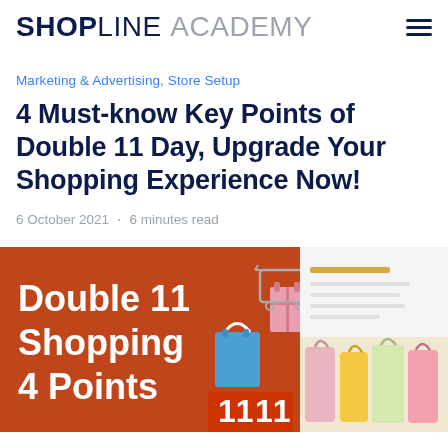SHOPLINE ACADEMY
Marketing & Advertising, Store Setup
4 Must-know Key Points of Double 11 Day, Upgrade Your Shopping Experience Now!
6 October 2021 · 6 minutes read
[Figure (illustration): Hero banner for a Double 11 Shopping article showing orange background with white text 'Double 11 Shopping 4 Points', shopping bags, a mini shopping cart with gifts on a red surface, and the number 11 11 visible. Partially visible on right side: product listing screenshot and colorful shopping bags photo.]